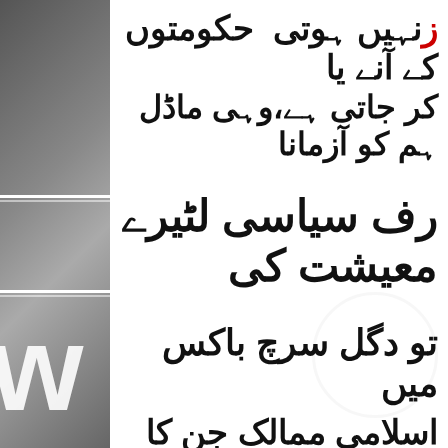[Figure (illustration): Left side decorative bar with grey gradient, white horizontal lines, large W letter, and partial text visible]
زنہیں ہوتی حکومتوں کے آنے یا
کر جاتی ہے وہی ماڈل ہم کو آزمانا
رف سیاسی لٹیرے معیشت کی
تو دگل سرچ باکس میں
اسلامی ممالک جن کا جمہوری